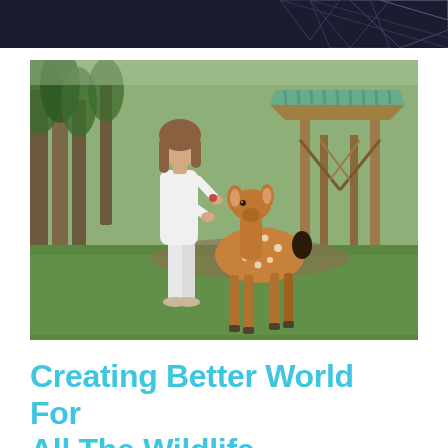[Figure (photo): Dark decorative banner strip at the top of the page with geometric line patterns (triangles/diamonds) in muted tones on a very dark background.]
[Figure (photo): A woman in white clothing stands outdoors on a green grassy field, feeding or interacting closely with a young spotted fawn (baby deer). In the background there are trees and a wooden shelter structure with a green corrugated roof. The scene appears to be at a wildlife park or sanctuary.]
Creating Better World For All The Wildlife